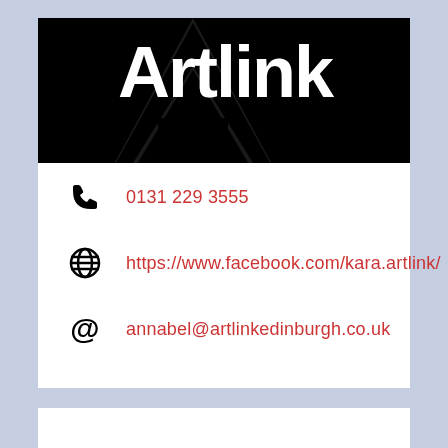[Figure (logo): Artlink logo — white bold text 'Artlink' on black background with large stylized letter A shape in black]
0131 229 3555
https://www.facebook.com/kara.artlink/
annabel@artlinkedinburgh.co.uk